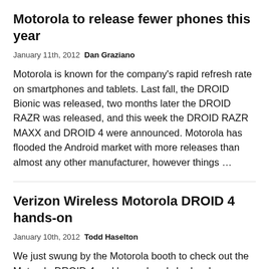Motorola to release fewer phones this year
January 11th, 2012  Dan Graziano
Motorola is known for the company’s rapid refresh rate on smartphones and tablets. Last fall, the DROID Bionic was released, two months later the DROID RAZR was released, and this week the DROID RAZR MAXX and DROID 4 were announced. Motorola has flooded the Android market with more releases than almost any other manufacturer, however things …
Verizon Wireless Motorola DROID 4 hands-on
January 10th, 2012  Todd Haselton
We just swung by the Motorola booth to check out the Motorola DROID 4 and have already had a chance…